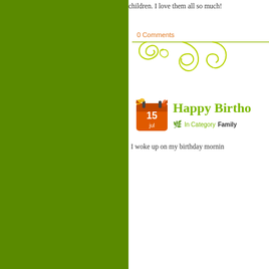children. I love them all so much!
0 Comments
[Figure (illustration): Decorative green flourish/swirl divider line]
[Figure (illustration): Orange calendar icon showing 15 jul with butterfly and flame decoration]
Happy Birthd...
In Category  Family
I woke up on my birthday mornin...